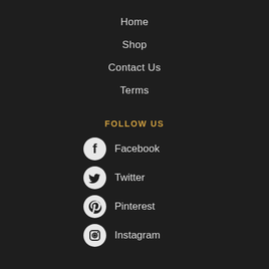Home
Shop
Contact Us
Terms
FOLLOW US
Facebook
Twitter
Pinterest
Instagram